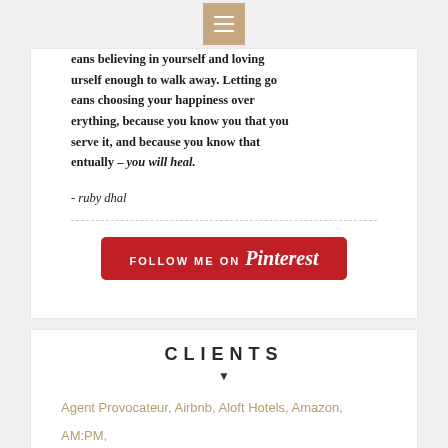Navigation menu icon
eans believing in yourself and loving urself enough to walk away. Letting go eans choosing your happiness over erything, because you know you that you serve it, and because you know that entually – you will heal.
- ruby dhal
[Figure (other): Follow Me on Pinterest red button]
CLIENTS
Agent Provocateur, Airbnb, Aloft Hotels, Amazon, AM:PM, Anmol Jewellers, Armani, Bblunt, BcbgMaxazria, Benetton, Bhusattva, Bobbi Brown Cosmetics, British